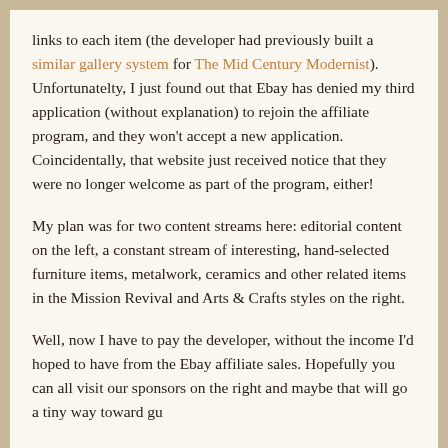links to each item (the developer had previously built a similar gallery system for The Mid Century Modernist). Unfortunatelty, I just found out that Ebay has denied my third application (without explanation) to rejoin the affiliate program, and they won't accept a new application. Coincidentally, that website just received notice that they were no longer welcome as part of the program, either!
My plan was for two content streams here: editorial content on the left, a constant stream of interesting, hand-selected furniture items, metalwork, ceramics and other related items in the Mission Revival and Arts & Crafts styles on the right.
Well, now I have to pay the developer, without the income I'd hoped to have from the Ebay affiliate sales. Hopefully you can all visit our sponsors on the right and maybe that will go a tiny way toward gu...